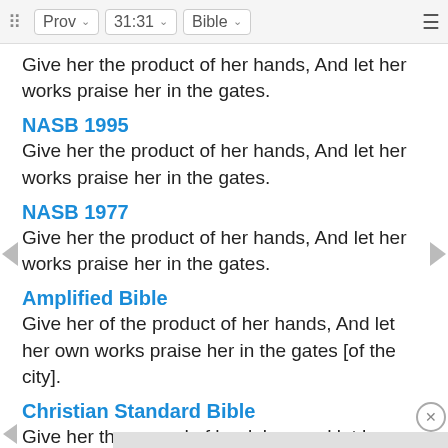Prov | 31:31 | Bible
Give her the product of her hands, And let her works praise her in the gates.
NASB 1995
Give her the product of her hands, And let her works praise her in the gates.
NASB 1977
Give her the product of her hands, And let her works praise her in the gates.
Amplified Bible
Give her of the product of her hands, And let her own works praise her in the gates [of the city].
Christian Standard Bible
Give her the reward of her labor, and let her works praise